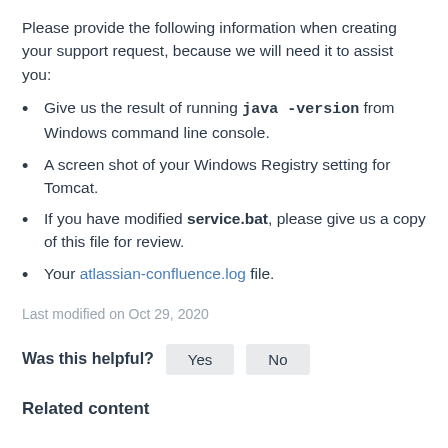Please provide the following information when creating your support request, because we will need it to assist you:
Give us the result of running java -version from Windows command line console.
A screen shot of your Windows Registry setting for Tomcat.
If you have modified service.bat, please give us a copy of this file for review.
Your atlassian-confluence.log file.
Last modified on Oct 29, 2020
Was this helpful? Yes No
Related content